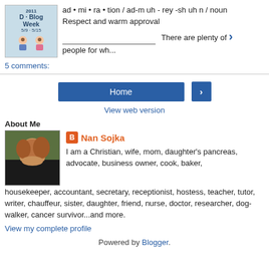[Figure (illustration): 2011 D-Blog Week 5/9-5/15 badge with cartoon figures]
ad • mi • ra • tion / ad-m uh - rey -sh uh n / noun Respect and warm approval __________________ There are plenty of people for wh...
5 comments:
Home
View web version
About Me
[Figure (photo): Profile photo of Nan Sojka, a woman with reddish-brown hair resting her chin on her hand]
Nan Sojka
I am a Christian, wife, mom, daughter's pancreas, advocate, business owner, cook, baker, housekeeper, accountant, secretary, receptionist, hostess, teacher, tutor, writer, chauffeur, sister, daughter, friend, nurse, doctor, researcher, dog-walker, cancer survivor...and more.
View my complete profile
Powered by Blogger.